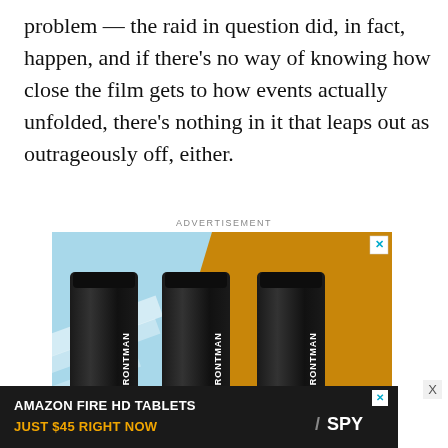problem — the raid in question did, in fact, happen, and if there's no way of knowing how close the film gets to how events actually unfolded, there's nothing in it that leaps out as outrageously off, either.
ADVERTISEMENT
[Figure (photo): Advertisement for Frontman skincare product showing three black tubes against a light blue and orange background with text 'MEN'S SKINCARE HACK HIDE ACNE FOR $24' and SPY logo]
[Figure (photo): Advertisement banner for Amazon Fire HD Tablets reading 'AMAZON FIRE HD TABLETS JUST $45 RIGHT NOW' with SPY logo]